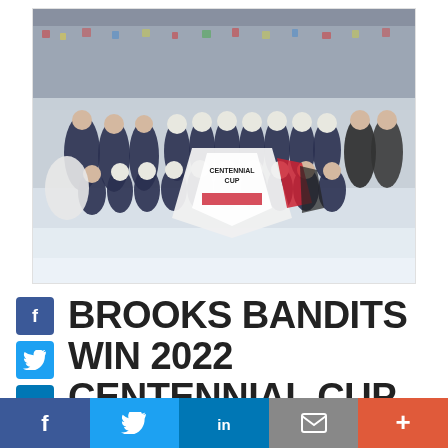[Figure (photo): Hockey team celebrating on ice rink, holding a large Centennial Cup banner/flag. Players in navy blue and red uniforms. Crowd visible in background stands.]
BROOKS BANDITS WIN 2022 CENTENNIAL CUP,